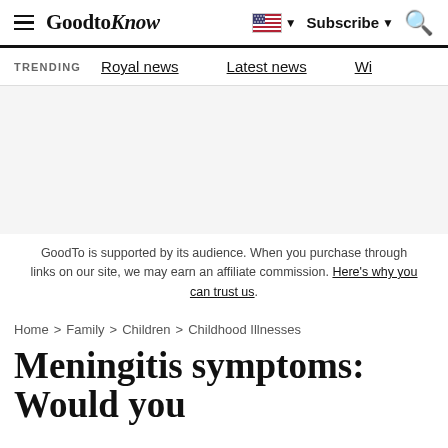GoodtoKnow — Subscribe, Royal news, Latest news, Wi...
TRENDING   Royal news   Latest news   Wi
GoodTo is supported by its audience. When you purchase through links on our site, we may earn an affiliate commission. Here's why you can trust us.
Home > Family > Children > Childhood Illnesses
Meningitis symptoms: Would you